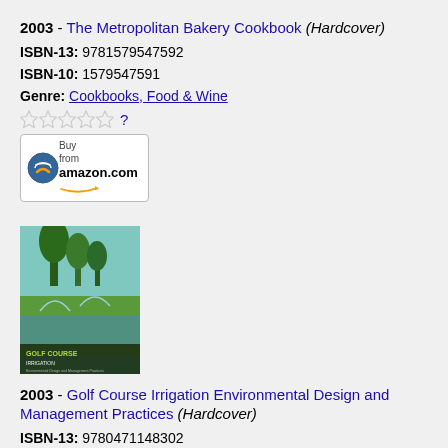2003 - The Metropolitan Bakery Cookbook (Hardcover)
ISBN-13: 9781579547592
ISBN-10: 1579547591
Genre: Cookbooks, Food & Wine
[Figure (other): Five empty star rating icons followed by a blue question mark]
[Figure (other): Buy from amazon.com button with Amazon logo]
[Figure (photo): Book cover of Golf Course Irrigation Environmental Design and Management Practices showing trees and irrigation sprinklers on a golf course]
2003 - Golf Course Irrigation Environmental Design and Management Practices (Hardcover)
ISBN-13: 9780471148302
ISBN-10: 047114830X
Genres: Sports & Outdoors, Crafts, Hobbies & Home, Science & Math, Engineering & Transportation
[Figure (other): Five empty star rating icons followed by a blue question mark]